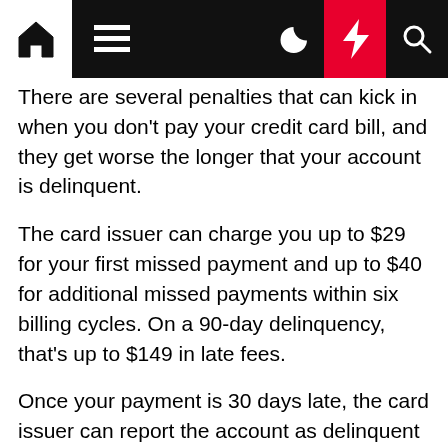There are several penalties that can kick in when you don't pay your credit card bill, and they get worse the longer that your account is delinquent.
The card issuer can charge you up to $29 for your first missed payment and up to $40 for additional missed payments within six billing cycles. On a 90-day delinquency, that's up to $149 in late fees.
Once your payment is 30 days late, the card issuer can report the account as delinquent on your credit report. This can cause a drop of up to 110 points in your credit score, and your score will drop even more if you pass the 60- and 90-day delinquency marks.
After 60 days, the card issuer can legally begin charging you a higher penalty APR on your balance. And after 90 days, you'll...